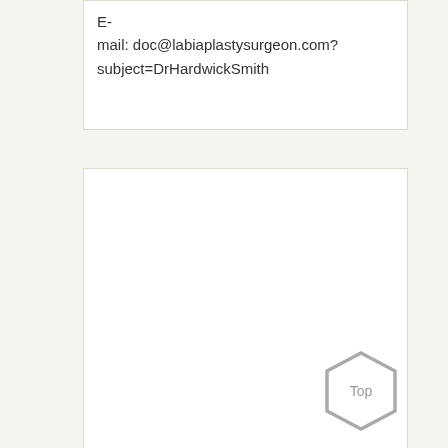E-mail: doc@labiaplastysurgeon.com?subject=DrHardwickSmith
[Figure (other): Empty white box with border below the email text box]
[Figure (other): Hexagon button with text 'Top' in grey, positioned bottom right]